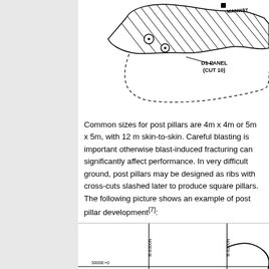[Figure (engineering-diagram): Top portion of a mine or underground excavation plan diagram showing irregular shaped panel labeled 'D1 PANEL (CUT 10)' with hatched areas and 'MANWAY' label, dotted boundary lines, and circular features.]
Common sizes for post pillars are 4m x 4m or 5m x 5m, with 12 m skin-to-skin. Careful blasting is important otherwise blast-induced fracturing can significantly affect performance. In very difficult ground, post pillars may be designed as ribs with cross-cuts slashed later to produce square pillars. The following picture shows an example of post pillar development[7]:
[Figure (engineering-diagram): Bottom portion of a mine post pillar development plan diagram showing grid lines with survey coordinates (B-6300N, B-6200N, 3000E+0), irregular excavation outlines, and pillar markings including 'P' label, with arrows indicating directions.]